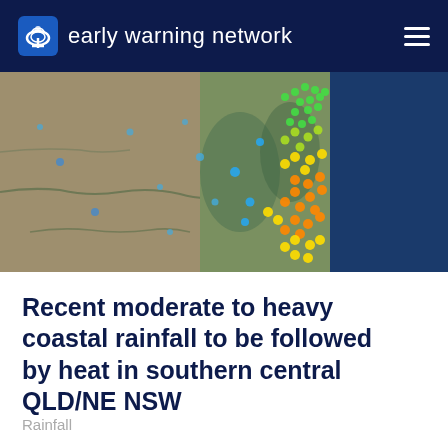early warning network
[Figure (map): Map showing coastal rainfall over Queensland and New South Wales, Australia, with colored pin markers (blue, green, yellow, orange) concentrated along the eastern coast and inland areas, satellite imagery showing terrain.]
Recent moderate to heavy coastal rainfall to be followed by heat in southern central QLD/NE NSW
Rainfall